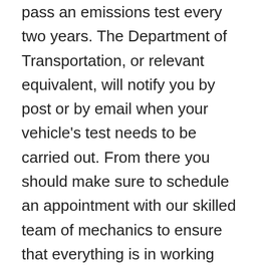pass an emissions test every two years. The Department of Transportation, or relevant equivalent, will notify you by post or by email when your vehicle's test needs to be carried out. From there you should make sure to schedule an appointment with our skilled team of mechanics to ensure that everything is in working order.
In Edmonton certain types of vehicles are exempt from the test. They include almost all hybrid vehicles, light duty vehicles such as cars, vans SUVs that were made before 1988, custom-kit cars, light duty commercial farm vehicles such as quad bikes ,and classic or vintage vehicles that are deemed ‘historic’ under the Highway